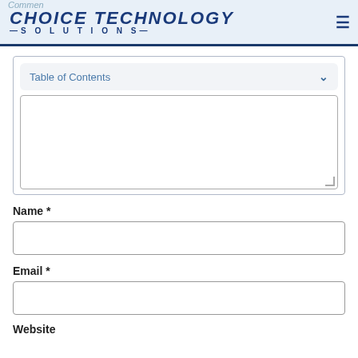CHOICE TECHNOLOGY SOLUTIONS
Comment
Table of Contents
Name *
Email *
Website